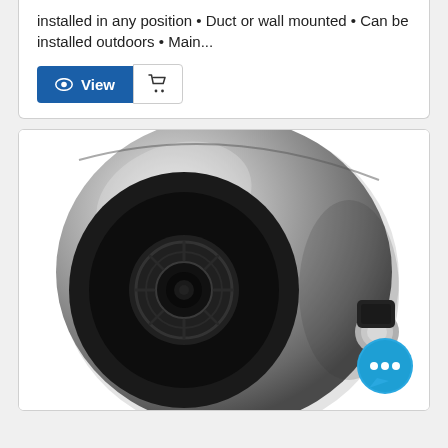installed in any position • Duct or wall mounted • Can be installed outdoors • Main...
[Figure (other): Blue 'View' button with eye icon and a shopping cart button next to it]
[Figure (photo): Photo of a round silver inline duct fan / centrifugal fan with black front inlet and a small grey and black connector on the side, with a blue chat bubble overlay in the bottom right corner]